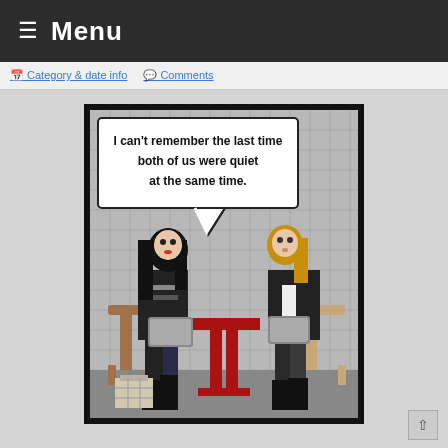≡ Menu
Category link   Contact link
[Figure (illustration): Webcomic panel showing two women sitting at a red table, both looking at their phones/tablets. The woman on the left has long black hair and wears black. The woman on the right has blonde hair and wears black. A speech bubble from the left character reads: I can't remember the last time both of us were quiet at the same time. Background is a gray grid pattern.]